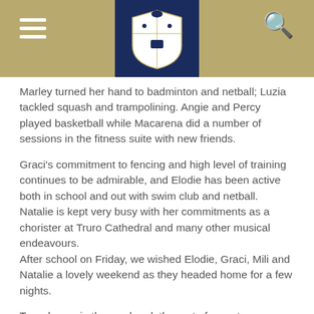[School header with logo and navigation]
Marley turned her hand to badminton and netball; Luzia tackled squash and trampolining. Angie and Percy played basketball while Macarena did a number of sessions in the fitness suite with new friends.
Graci’s commitment to fencing and high level of training continues to be admirable, and Elodie has been active both in school and out with swim club and netball. Natalie is kept very busy with her commitments as a chorister at Truro Cathedral and many other musical endeavours.
After school on Friday, we wished Elodie, Graci, Mili and Natalie a lovely weekend as they headed home for a few nights.
To welcome in the weekend, the rest of us put on our ‘chill-out’ clothes and, after supper and a more informal prep in-house, started the weekend in earnest. Some decided to walk to the local supermarket to stock up on goodies, and some continued their fitness activities by going to the gym or playing basketball. At the same time, those of us still in